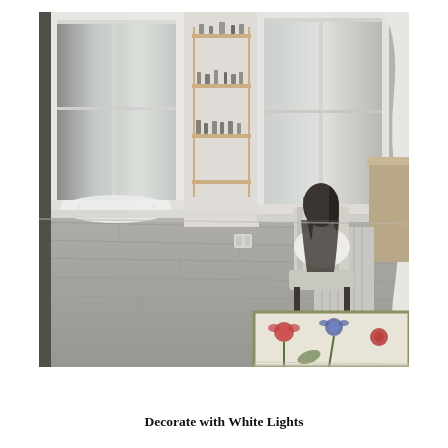[Figure (photo): Interior room photo showing a bright, airy space with white-painted wood floors, tall windows with white curtains, a window seat with a white cushion, shelving with small bottles/items between the windows, a striped upholstered chair with a white fur throw near a cast iron radiator, a wooden desk/workbench on the right, and a floral area rug in the lower right corner. A person with dark hair is seated in the chair looking out the window.]
Decorate with White Lights